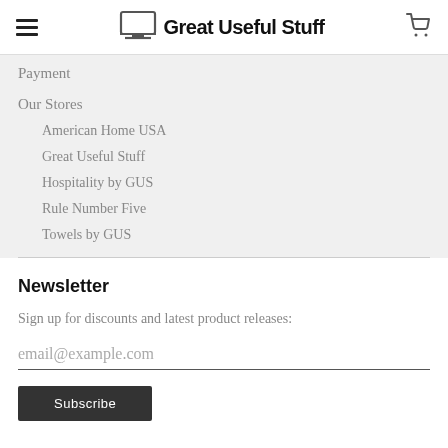Great Useful Stuff
Payment
Our Stores
American Home USA
Great Useful Stuff
Hospitality by GUS
Rule Number Five
Towels by GUS
Newsletter
Sign up for discounts and latest product releases:
email@example.com
Subscribe